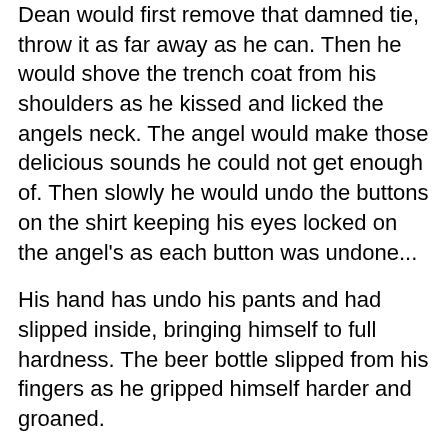Dean would first remove that damned tie, throw it as far away as he can. Then he would shove the trench coat from his shoulders as he kissed and licked the angels neck. The angel would make those delicious sounds he could not get enough of. Then slowly he would undo the buttons on the shirt keeping his eyes locked on the angel's as each button was undone...
His hand has undo his pants and had slipped inside, bringing himself to full hardness. The beer bottle slipped from his fingers as he gripped himself harder and groaned.
"Are you in pain?" a voice asked over at his left.
Dean's hand shot out of his pants, his eyes shot open and he sat up straight as he looked at the intruder. He bit his lips as he saw who it was. The object of his affections was looking at him worriedly, waiting for an answer.
"Shit, Cas, do you have to do that?" Dean shock his head trying to clear his thoughts and not think of the blue intensity that was staring at him.